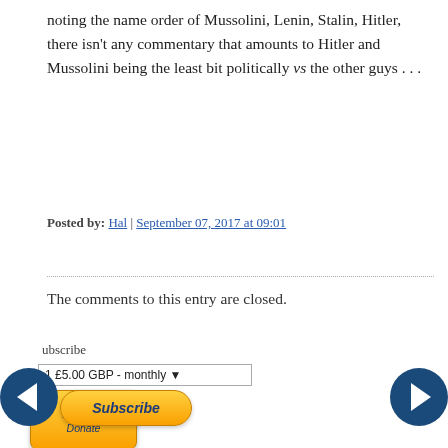noting the name order of Mussolini, Lenin, Stalin, Hitler, there isn't any commentary that amounts to Hitler and Mussolini being the least bit politically vs the other guys . . .
Posted by: Hal | September 07, 2017 at 09:01
The comments to this entry are closed.
[Figure (other): PayPal Donate button - orange/yellow gradient rounded rectangle with PayPal logo text and 'Donate' label]
ubscribe
1 £5.00 GBP - monthly
[Figure (other): Subscribe button - orange/yellow gradient rounded pill shape with italic bold text 'Subscribe']
[Figure (other): Left navigation arrow - dark blue circle with white left-pointing arrow]
[Figure (other): Right navigation arrow - dark blue circle with white right-pointing arrow]